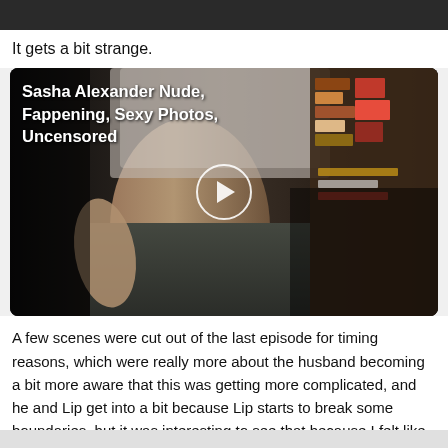[Figure (screenshot): Dark top bar area at the top of the page]
It gets a bit strange.
[Figure (screenshot): Video thumbnail showing a person with title overlay 'Sasha Alexander Nude, Fappening, Sexy Photos, Uncensored' and a play button in the center]
A few scenes were cut out of the last episode for timing reasons, which were really more about the husband becoming a bit more aware that this was getting more complicated, and he and Lip get into a bit because Lip starts to break some boundaries, but it was interesting to see that because I felt like Helene was in the middle, and where would she go.